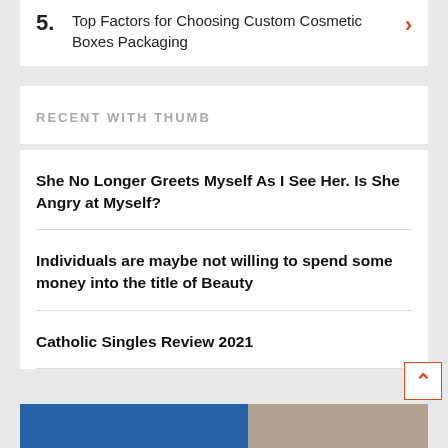5. Top Factors for Choosing Custom Cosmetic Boxes Packaging
RECENT WITH THUMB
She No Longer Greets Myself As I See Her. Is She Angry at Myself?
Individuals are maybe not willing to spend some money into the title of Beauty
Catholic Singles Review 2021
[Figure (photo): Bottom image strip showing a blue and gray photographic thumbnail]